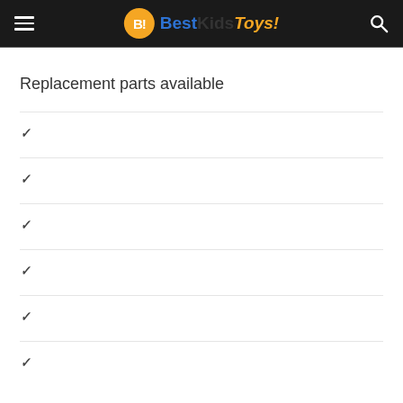BestKidsToys!
Replacement parts available
✓
✓
✓
✓
✓
✓